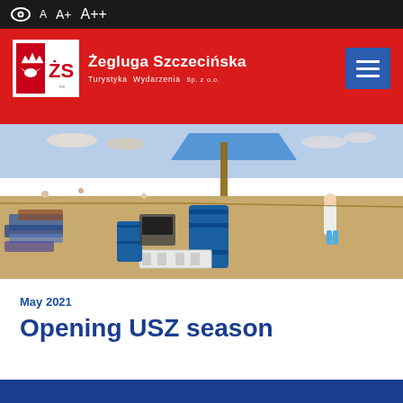A A+ A++
[Figure (logo): Żegluga Szczecińska logo with ŻS initials in red and white, crown emblem]
Żegluga Szczecińska Turystyka Wydarzenia Sp. z o.o.
[Figure (photo): Beach scene with sand, blue barrels, deck chairs, white pallets, beach umbrellas, blue tent canopy, people walking in sunny weather]
May 2021
Opening USZ season